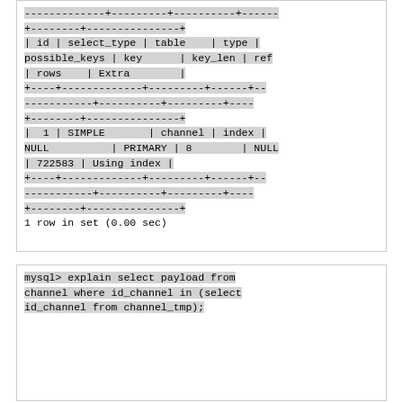MySQL EXPLAIN output showing query execution plan with columns: id, select_type, table, type, possible_keys, key, key_len, ref, rows, Extra. Row: 1 | SIMPLE | channel | index | NULL | PRIMARY | 8 | NULL | 722583 | Using index. 1 row in set (0.00 sec)
mysql> explain select payload from channel where id_channel in (select id_channel from channel_tmp);